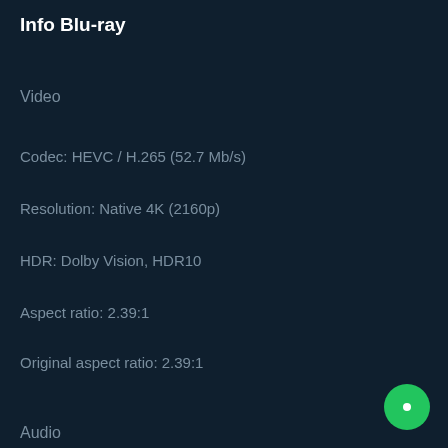Info Blu-ray
Video
Codec: HEVC / H.265 (52.7 Mb/s)
Resolution: Native 4K (2160p)
HDR: Dolby Vision, HDR10
Aspect ratio: 2.39:1
Original aspect ratio: 2.39:1
Audio
English: Dolby TrueHD with Dolby Atmos (48kHz, 24-bit)
English: DTS-HD Master Audio 7.1 (48kHz, 24-bit)
English: Dolby Digital 5.1